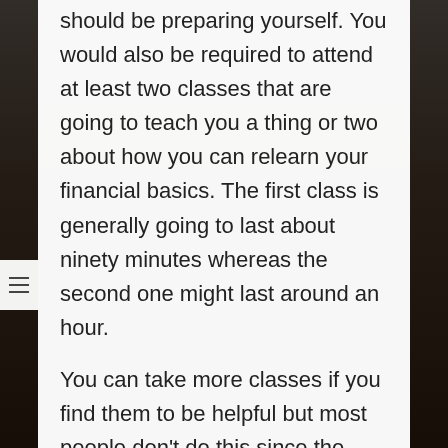should be preparing yourself. You would also be required to attend at least two classes that are going to teach you a thing or two about how you can relearn your financial basics. The first class is generally going to last about ninety minutes whereas the second one might last around an hour.
You can take more classes if you find them to be helpful but most people don't do this since the classes themselves are mostly for show and they do not provide you with any truly useful information about how you can go about looking into far better financial planning in the long run. Besides, the classes cost about $50 each and if you are bankrupt you probably don't have that much money on you anyway so it would be better for you to just do the classes that are required of